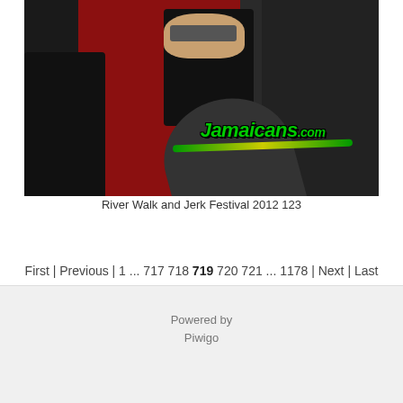[Figure (photo): A festival photo showing a man in a black hoodie and cap in the foreground, with colorful graphic t-shirts and merchandise displayed behind him. The Jamaicans.com logo with green and yellow styling is overlaid on the image.]
River Walk and Jerk Festival 2012 123
First | Previous | 1 ... 717 718 719 720 721 ... 1178 | Next | Last
Powered by
Piwigo